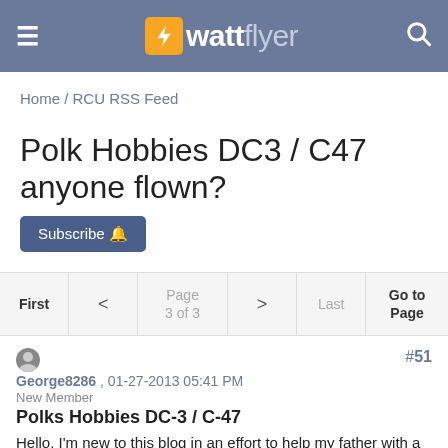wattflyer
Home / RCU RSS Feed
Polk Hobbies DC3 / C47 anyone flown?
Subscribe
First  <  Page 3 of 3  >  Last  Go to Page
George8286 , 01-27-2013 05:41 PM  #51
New Member
Polks Hobbies DC-3 / C-47
Hello, I'm new to this blog in an effort to help my father with a partial kit of the Polks, DC-3. It came without the center section and had no instruction book of any kind. Since he is